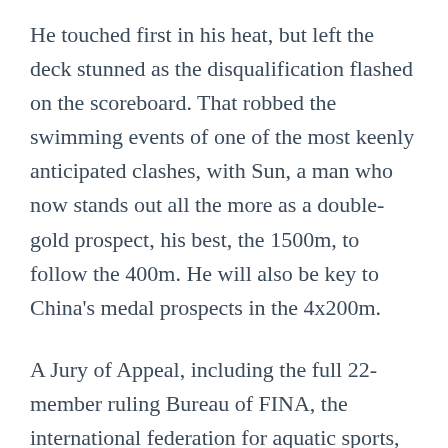He touched first in his heat, but left the deck stunned as the disqualification flashed on the scoreboard. That robbed the swimming events of one of the most keenly anticipated clashes, with Sun, a man who now stands out all the more as a double-gold prospect, his best, the 1500m, to follow the 400m. He will also be key to China's medal prospects in the 4x200m.
A Jury of Appeal, including the full 22-member ruling Bureau of FINA, the international federation for aquatic sports, will meet this afternoon to consider the case of Park Taehwan, the Korean Olympic